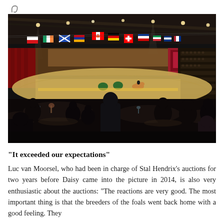[Figure (photo): Wide-angle interior photo of an equestrian arena during a gala auction event. International flags hang from the ceiling rafters. Audience members are seated at dinner tables in the foreground (silhouetted). A horse and rider are visible on a sandy arena floor under bright lights. Red curtain draped backdrop. Large illuminated space with packed spectator stands on the right side.]
“It exceeded our expectations”
Luc van Moorsel, who had been in charge of Stal Hendrix’s auctions for two years before Daisy came into the picture in 2014, is also very enthusiastic about the auctions: “The reactions are very good. The most important thing is that the breeders of the foals went back home with a good feeling. They